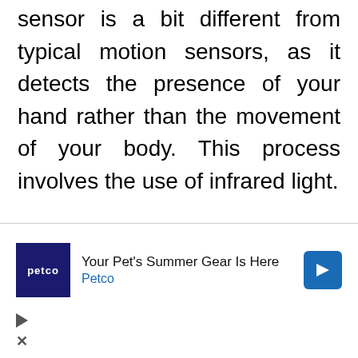sensor is a bit different from typical motion sensors, as it detects the presence of your hand rather than the movement of your body. This process involves the use of infrared light.
Some touchless sensors use ultrasonic field sensors instead of presence sensors. Such a sensor activates the faucet valve when hand movement is
[Figure (other): Advertisement overlay: Petco 'Your Pet's Summer Gear Is Here' ad with Petco logo, blue arrow icon, play and close controls]